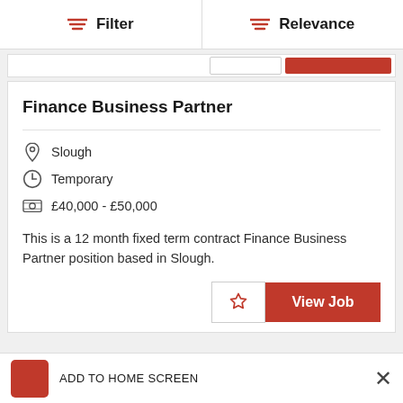Filter | Relevance
Finance Business Partner
Slough
Temporary
£40,000 - £50,000
This is a 12 month fixed term contract Finance Business Partner position based in Slough.
ADD TO HOME SCREEN